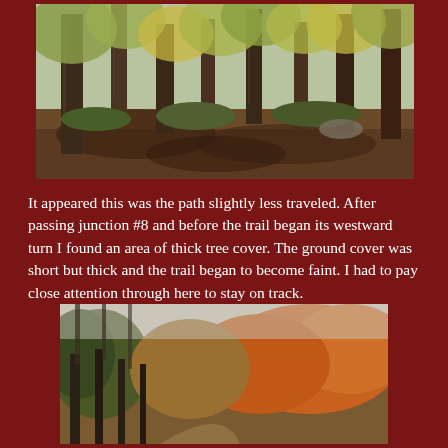[Figure (photo): Autumn forest floor with tall tree trunks, fallen brown leaves on the ground, and yellow-green foliage in background]
It appeared this was the path slightly less traveled.  After passing junction #8 and before the trail began its westward turn I found an area of thick tree cover.  The ground cover was short but thick and the trail began to become faint.  I had to pay close attention through here to stay on track.
[Figure (photo): Autumn forest trail scene with orange and red foliage on trees, overcast sky visible through the canopy, hillside trail winding through the woods]